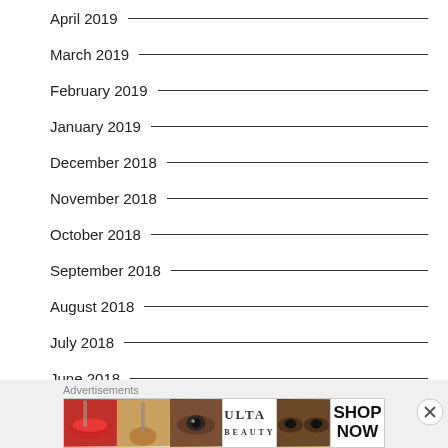April 2019
March 2019
February 2019
January 2019
December 2018
November 2018
October 2018
September 2018
August 2018
July 2018
June 2018
May 2018
[Figure (photo): Ulta Beauty advertisement banner with beauty product images including lips with makeup, a brush, an eye, the Ulta Beauty logo, eyes with makeup, and a SHOP NOW call to action.]